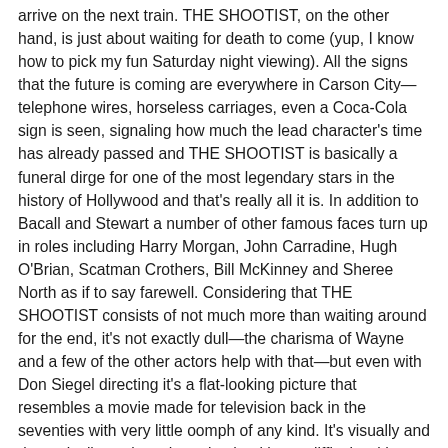arrive on the next train. THE SHOOTIST, on the other hand, is just about waiting for death to come (yup, I know how to pick my fun Saturday night viewing). All the signs that the future is coming are everywhere in Carson City—telephone wires, horseless carriages, even a Coca-Cola sign is seen, signaling how much the lead character's time has already passed and THE SHOOTIST is basically a funeral dirge for one of the most legendary stars in the history of Hollywood and that's really all it is. In addition to Bacall and Stewart a number of other famous faces turn up in roles including Harry Morgan, John Carradine, Hugh O'Brian, Scatman Crothers, Bill McKinney and Sheree North as if to say farewell. Considering that THE SHOOTIST consists of not much more than waiting around for the end, it's not exactly dull—the charisma of Wayne and a few of the other actors help with that—but even with Don Siegel directing it's a flat-looking picture that resembles a movie made for television back in the seventies with very little oomph of any kind. It's visually and dramatically static to the point that it's not difficult, with a few tweaks, to imagine the entire script presented on live telelvision back in the fifties. There's some location work done in Nevada—the book it's based on was set in El Paso, but the more wintry setting of the film was